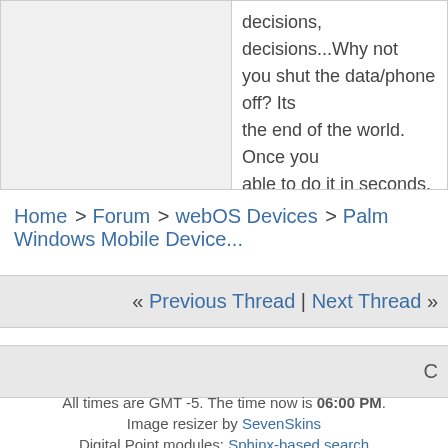decisions, decisions...Why not you shut the data/phone off? Its the end of the world. Once you able to do it in seconds.
Home > Forum > webOS Devices > Palm Windows Mobile Device...
« Previous Thread | Next Thread »
C
All times are GMT -5. The time now is 06:00 PM.
Image resizer by SevenSkins
Digital Point modules: Sphinx-based search